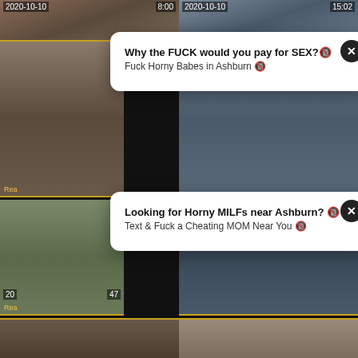[Figure (screenshot): Adult video thumbnail grid with two ad popups overlaid. Top row shows two video thumbnails with timestamps 8:00 and 15:02, dated 2020-10-10. Middle section has two ad popups: first says 'Why the FUCK would you pay for SEX?' and second says 'Looking for Horny MILFs near Ashburn?'. Bottom row shows two video thumbnails dated 2020-10-10, titled 'Artist fucks his new brunette model' (7:42) and 'Blonde mom cheating and young teen' (5:04). A partial bottom row is visible.]